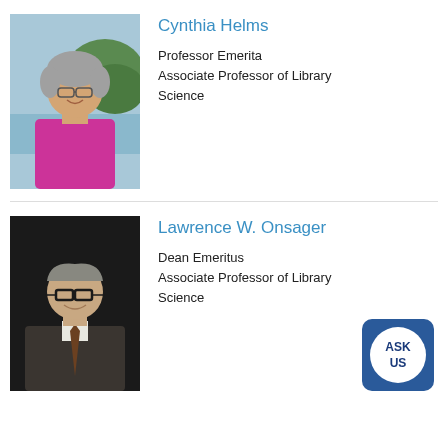[Figure (photo): Headshot of Cynthia Helms, a woman with short grey hair and glasses, wearing a magenta top, outdoors near water]
Cynthia Helms
Professor Emerita
Associate Professor of Library Science
[Figure (photo): Headshot of Lawrence W. Onsager, an older man with glasses wearing a dark blazer and tie, against a dark background]
Lawrence W. Onsager
Dean Emeritus
Associate Professor of Library Science
[Figure (other): ASK US chat button — blue rounded square with white circle containing the text ASK US in blue]